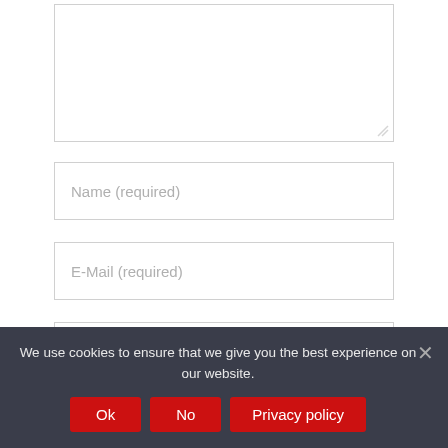[Figure (screenshot): A text area input box with resize handle at bottom-right]
[Figure (screenshot): A text input field with placeholder 'Name (required)']
[Figure (screenshot): A text input field with placeholder 'E-Mail (required)']
[Figure (screenshot): A text input field with placeholder 'Website']
Notify me of follow-up comments by email.
We use cookies to ensure that we give you the best experience on our website.
Ok
No
Privacy policy